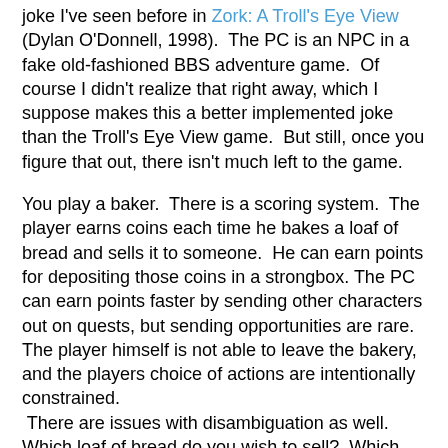joke I've seen before in Zork: A Troll's Eye View (Dylan O'Donnell, 1998).  The PC is an NPC in a fake old-fashioned BBS adventure game.  Of course I didn't realize that right away, which I suppose makes this a better implemented joke than the Troll's Eye View game.  But still, once you figure that out, there isn't much left to the game.
You play a baker.  There is a scoring system.  The player earns coins each time he bakes a loaf of bread and sells it to someone.  He can earn points for depositing those coins in a strongbox. The PC can earn points faster by sending other characters out on quests, but sending opportunities are rare.  The player himself is not able to leave the bakery, and the players choice of actions are intentionally constrained.  There are issues with disambiguation as well.  Which loaf of bread do you wish to sell?  Which citizen do you wish to sell it to?  Sometimes the citizens have already left the bakery before the player has finally clarified their intention.  All of which results in a very slow, very tedious slog toward a goal score of just under a million points--a number so ridiculously inflated that no human player could ever reasonably expect to reach it.